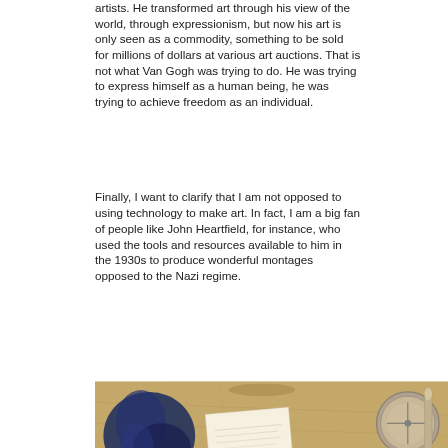artists. He transformed art through his view of the world, through expressionism, but now his art is only seen as a commodity, something to be sold for millions of dollars at various art auctions. That is not what Van Gogh was trying to do. He was trying to express himself as a human being, he was trying to achieve freedom as an individual.
Finally, I want to clarify that I am not opposed to using technology to make art. In fact, I am a big fan of people like John Heartfield, for instance, who used the tools and resources available to him in the 1930s to produce wonderful montages opposed to the Nazi regime.
[Figure (photo): A photo showing what appears to be an old map or aged paper background with a dark blue ink fingerprint or paint mark on the left, a white envelope or card with handwriting in the center, and a metallic compass or lens object on the right.]